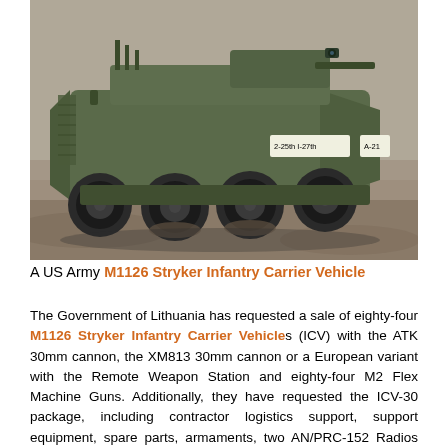[Figure (photo): A US Army M1126 Stryker Infantry Carrier Vehicle driving on dirt terrain, side-front view showing the 8-wheeled armored vehicle with military markings '2-25th I-27th' and 'A-21'.]
A US Army M1126 Stryker Infantry Carrier Vehicle
The Government of Lithuania has requested a sale of eighty-four M1126 Stryker Infantry Carrier Vehicles (ICV) with the ATK 30mm cannon, the XM813 30mm cannon or a European variant with the Remote Weapon Station and eighty-four M2 Flex Machine Guns. Additionally, they have requested the ICV-30 package, including contractor logistics support, support equipment, spare parts, armaments, two AN/PRC-152 Radios per vehicle, one AN/PSN-13 DAGR per vehicle, one VIC-3 per vehicle, and other related elements of logistics and program support.